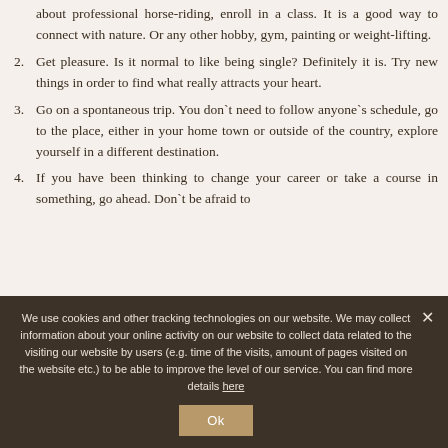about professional horse-riding, enroll in a class. It is a good way to connect with nature. Or any other hobby, gym, painting or weight-lifting.
2. Get pleasure. Is it normal to like being single? Definitely it is. Try new things in order to find what really attracts your heart.
3. Go on a spontaneous trip. You don’t need to follow anyone’s schedule, go to the place, either in your home town or outside of the country, explore yourself in a different destination.
4. If you have been thinking to change your career or take a course in something, go ahead. Don’t be afraid to
We use cookies and other tracking technologies on our website. We may collect information about your online activity on our website to collect data related to the visiting our website by users (e.g. time of the visits, amount of pages visited on the website etc.) to be able to improve the level of our service. You can find more details here
Ok